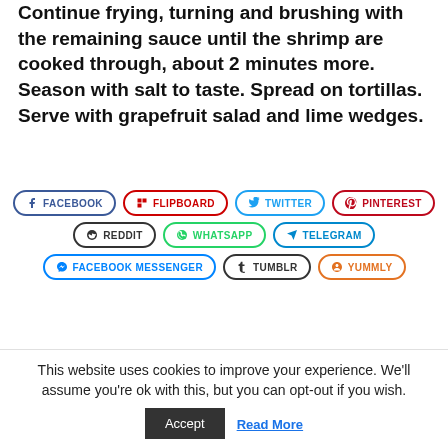Continue frying, turning and brushing with the remaining sauce until the shrimp are cooked through, about 2 minutes more. Season with salt to taste. Spread on tortillas. Serve with grapefruit salad and lime wedges.
[Figure (other): Row of social share buttons: FACEBOOK, FLIPBOARD, TWITTER, PINTEREST, REDDIT, WHATSAPP, TELEGRAM, FACEBOOK MESSENGER, TUMBLR, YUMMLY]
This website uses cookies to improve your experience. We'll assume you're ok with this, but you can opt-out if you wish.
Accept   Read More